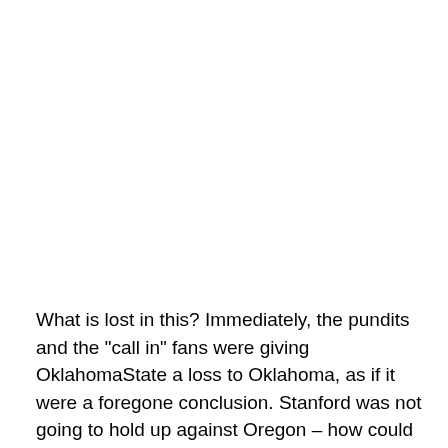What is lost in this? Immediately, the pundits and the "call in" fans were giving OklahomaState a loss to Oklahoma, as if it were a foregone conclusion. Stanford was not going to hold up against Oregon – how could they?. And, oppositely, BoiseState was going to win out.